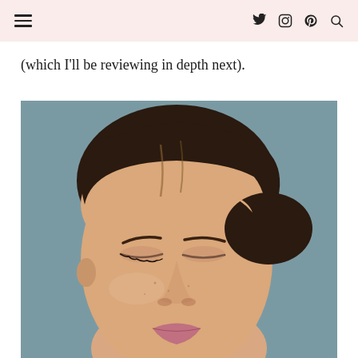☰ (hamburger menu) | social icons: Twitter, Instagram, Pinterest, Search
(which I'll be reviewing in depth next).
[Figure (photo): Close-up portrait of a young woman with dark hair pulled back, eyes closed, wearing subtle warm-toned eye makeup and pink lipstick, against a muted teal-grey background.]